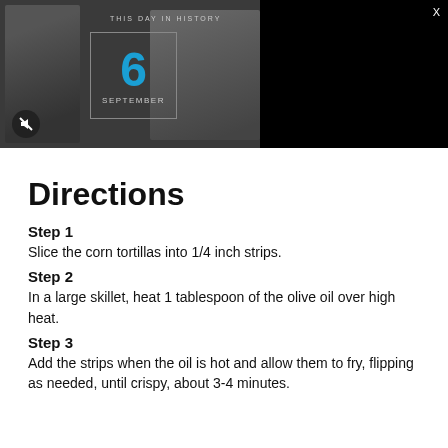[Figure (screenshot): Video banner showing 'This Day in History' with the number 6 in blue and 'September' in white text on a dark background with two people visible in a grayscale photo. A mute button icon is visible in the lower left and an X close button in the upper right.]
Directions
Step 1
Slice the corn tortillas into 1/4 inch strips.
Step 2
In a large skillet, heat 1 tablespoon of the olive oil over high heat.
Step 3
Add the strips when the oil is hot and allow them to fry, flipping as needed, until crispy, about 3-4 minutes.